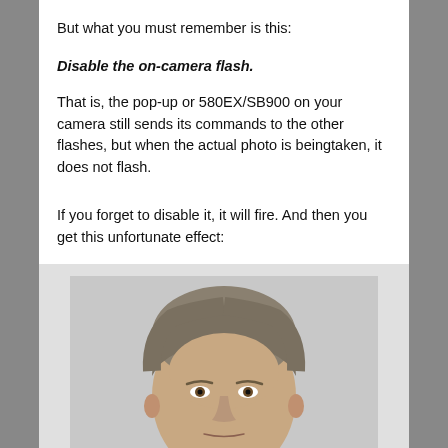But what you must remember is this:
Disable the on-camera flash.
That is, the pop-up or 580EX/SB900 on your camera still sends its commands to the other flashes, but when the actual photo is beingtaken, it does not flash.
If you forget to disable it, it will fire. And then you get this unfortunate effect:
[Figure (photo): Portrait photo of a middle-aged man with grey/brown hair, facing forward against a light grey background, cropped at the forehead and chin area.]